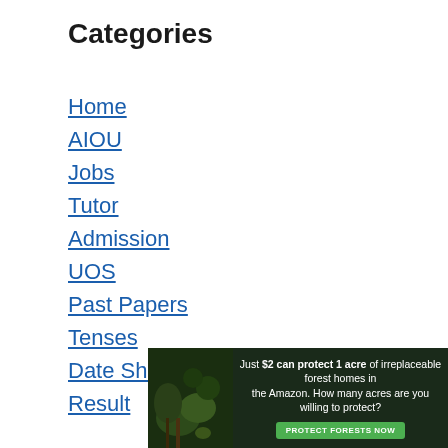Categories
Home
AIOU
Jobs
Tutor
Admission
UOS
Past Papers
Tenses
Date Sheets
Result
[Figure (infographic): Advertisement banner: 'Just $2 can protect 1 acre of irreplaceable forest homes in the Amazon. How many acres are you willing to protect?' with green PROTECT FORESTS NOW button and forest background image]